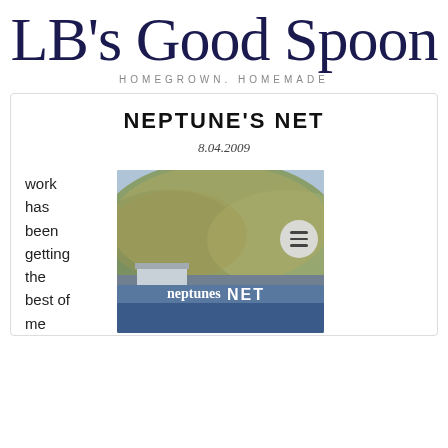LB's Good Spoon
HOMEGROWN. HOMEMADE
NEPTUNE'S NET
8.04.2009
work has been getting the best of me
[Figure (photo): Exterior photo of Neptune's Net restaurant with a hillside in the background and a sign reading 'neptunes NET']